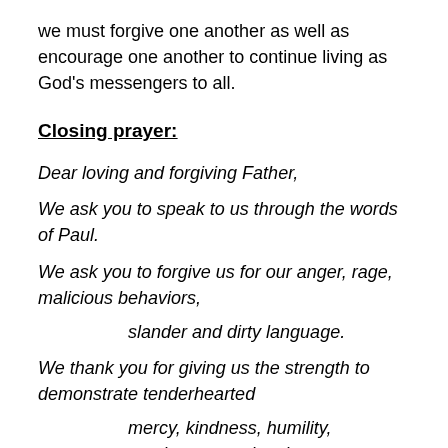we must forgive one another as well as encourage one another to continue living as God's messengers to all.
Closing prayer:
Dear loving and forgiving Father,
We ask you to speak to us through the words of Paul.
We ask you to forgive us for our anger, rage, malicious behaviors,
slander and dirty language.
We thank you for giving us the strength to demonstrate tenderhearted
mercy, kindness, humility, gentleness, and patience.